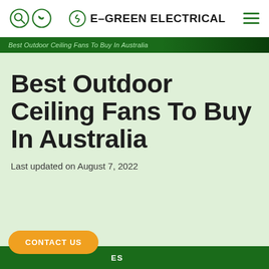E-GREEN ELECTRICAL
Best Outdoor Ceiling Fans To Buy In Australia
Best Outdoor Ceiling Fans To Buy In Australia
Last updated on August 7, 2022
CONTACT US